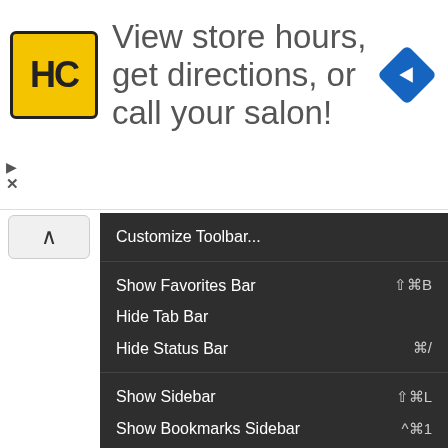[Figure (screenshot): Advertisement banner: Supercuts (HC logo) - 'View store hours, get directions, or call your salon!' with a blue navigation arrow icon]
Customize Toolbar...
Show Favorites Bar   ⇧⌘B
Hide Tab Bar
Hide Status Bar   ⌘/
Show Sidebar   ⇧⌘L
Show Bookmarks Sidebar   ^⌘1
Show Reading List Sidebar   ^⌘2
Hide Reader   ⇧⌘R
Show Tab Overview   ⇧⌘\
Show Downloads   ⌥⌘L (disabled)
Stop   ⌘. (disabled)
Reload Page   ⌘R
Reload With Plug-Ins
Actual Size   ⌘0 (disabled)
Zoom In   ⌘+
Zoom Out   ⌘-